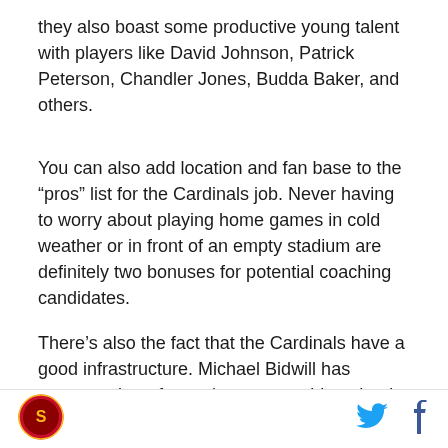they also boast some productive young talent with players like David Johnson, Patrick Peterson, Chandler Jones, Budda Baker, and others.
You can also add location and fan base to the “pros” list for the Cardinals job. Never having to worry about playing home games in cold weather or in front of an empty stadium are definitely two bonuses for potential coaching candidates.
There’s also the fact that the Cardinals have a good infrastructure. Michael Bidwill has proven to be a fantastic team president that is willing to do what is necessary to help the team win. Meanwhile, General Manager Steve Keim has stockpiled some nice pieces
[Figure (logo): Arizona Cardinals circular team logo in red and gold]
[Figure (logo): Twitter bird icon in blue]
[Figure (logo): Facebook f icon in blue]